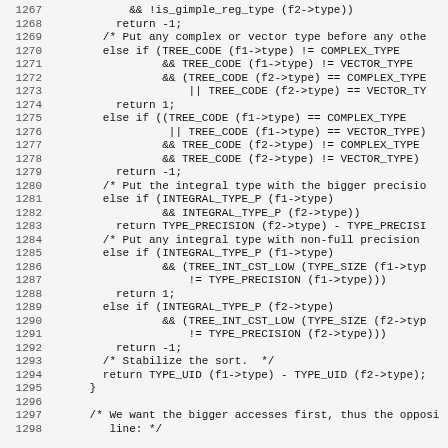[Figure (screenshot): Source code listing showing C code lines 1267-1298 with line numbers on the left and code content on the right, monospace font on light gray background.]